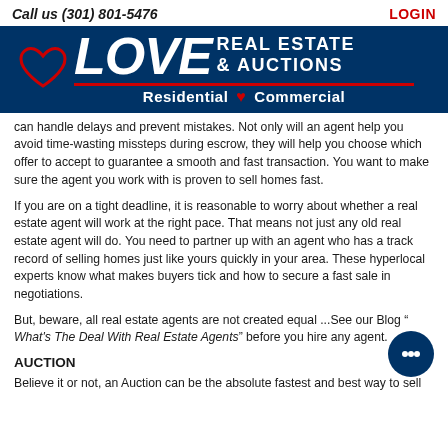Call us (301) 801-5476   LOGIN
[Figure (logo): Love Real Estate & Auctions logo on dark blue background with heart icon, red underline, and 'Residential ♥ Commercial' tagline]
can handle delays and prevent mistakes. Not only will an agent help you avoid time-wasting missteps during escrow, they will help you choose which offer to accept to guarantee a smooth and fast transaction. You want to make sure the agent you work with is proven to sell homes fast.
If you are on a tight deadline, it is reasonable to worry about whether a real estate agent will work at the right pace. That means not just any old real estate agent will do. You need to partner up with an agent who has a track record of selling homes just like yours quickly in your area. These hyperlocal experts know what makes buyers tick and how to secure a fast sale in negotiations.
But, beware, all real estate agents are not created equal ...See our Blog " What's The Deal With Real Estate Agents" before you hire any agent.
AUCTION
Believe it or not, an Auction can be the absolute fastest and best way to sell